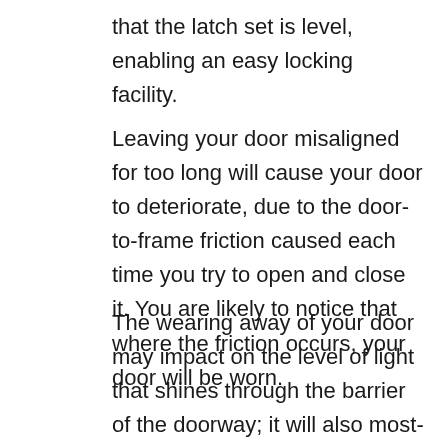that the latch set is level, enabling an easy locking facility.
Leaving your door misaligned for too long will cause your door to deteriorate, due to the door-to-frame friction caused each time you try to open and close it. You are likely to notice that where the friction occurs, your door will be worn.
The wearing away of your door may impact on the level of light that shines through the barrier of the doorway; it will also most-likely impact on securing your door as the lock functionality may no longer align. For this reason, door re-alignment is required to